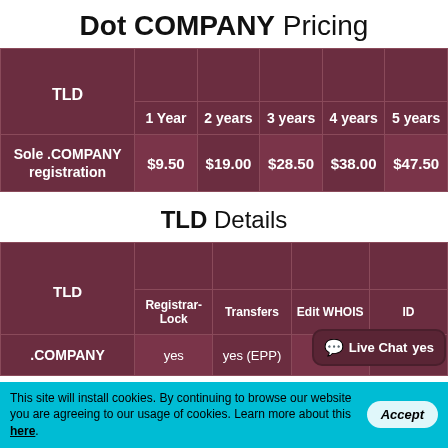Dot COMPANY Pricing
| TLD | 1 Year | 2 years | 3 years | 4 years | 5 years |
| --- | --- | --- | --- | --- | --- |
| Sole .COMPANY registration | $9.50 | $19.00 | $28.50 | $38.00 | $47.50 |
TLD Details
| TLD | Registrar-Lock | Transfers | Edit WHOIS | ID |
| --- | --- | --- | --- | --- |
| .COMPANY | yes | yes (EPP) | yes |  |
This site will install cookies. By continuing to browse our website you are agreeing to our usage of cookies. Learn more about this here.